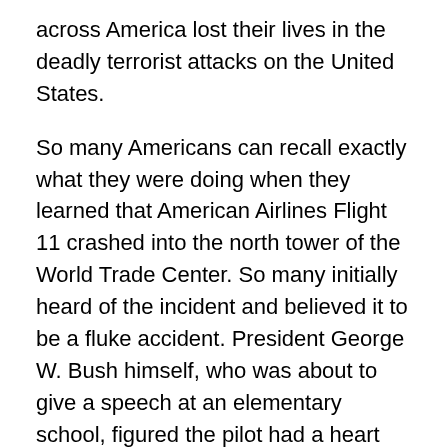across America lost their lives in the deadly terrorist attacks on the United States.
So many Americans can recall exactly what they were doing when they learned that American Airlines Flight 11 crashed into the north tower of the World Trade Center. So many initially heard of the incident and believed it to be a fluke accident. President George W. Bush himself, who was about to give a speech at an elementary school, figured the pilot had a heart attack. Little did the world know what horrific events would soon follow.
Over the course of an hour and a half, four planes were hijacked by al-Qaeda terrorists and struck various locations across the eastern seaboard, with the first two striking the north and south towers of the World Trade Center, the third striking the Pentagon in Washington and the fourth being